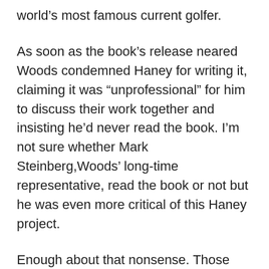world's most famous current golfer.
As soon as the book's release neared Woods condemned Haney for writing it, claiming it was “unprofessional” for him to discuss their work together and insisting he’d never read the book. I’m not sure whether Mark Steinberg,Woods’ long-time representative, read the book or not but he was even more critical of this Haney project.
Enough about that nonsense. Those who haven’t read it might think Haney’s book is a hatchet job on Woods. It’s not. While I’m sure a profit motive was involved, I’m glad Haney took on the project. (He did so, I must say, working with Jaime Diaz — a long-time friend of mine. Jaime is a top-notch golf writer, one of the best in the business. He was recently named editor of GolfWeek magazine. It’s important to note that Haney calls